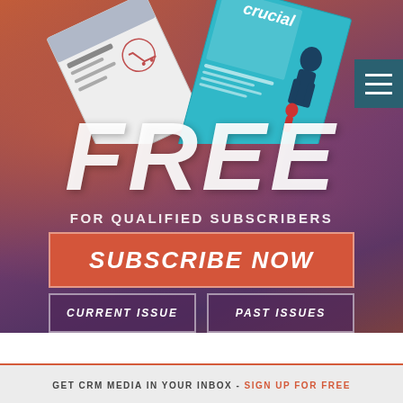[Figure (illustration): Promotional banner with magazine covers fanned out at top, large FREE text, FOR QUALIFIED SUBSCRIBERS subtitle, SUBSCRIBE NOW button in red-orange, CURRENT ISSUE and PAST ISSUES buttons in dark purple, all on a dark red-orange to purple gradient background with a hamburger menu icon top right]
FREE
FOR QUALIFIED SUBSCRIBERS
SUBSCRIBE NOW
CURRENT ISSUE
PAST ISSUES
GET CRM MEDIA IN YOUR INBOX - SIGN UP FOR FREE